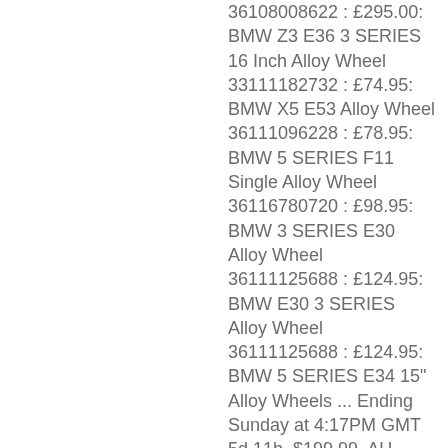36108008622 : £295.00: BMW Z3 E36 3 SERIES 16 Inch Alloy Wheel 33111182732 : £74.95: BMW X5 E53 Alloy Wheel 36111096228 : £78.95: BMW 5 SERIES F11 Single Alloy Wheel 36116780720 : £98.95: BMW 3 SERIES E30 Alloy Wheel 36111125688 : £124.95: BMW E30 3 SERIES Alloy Wheel 36111125688 : £124.95: BMW 5 SERIES E34 15" Alloy Wheels ... Ending Sunday at 4:17PM GMT 5d 11h. $199.99. AU $1,999.00 + AU $99.00 shipping. View as Grid List.